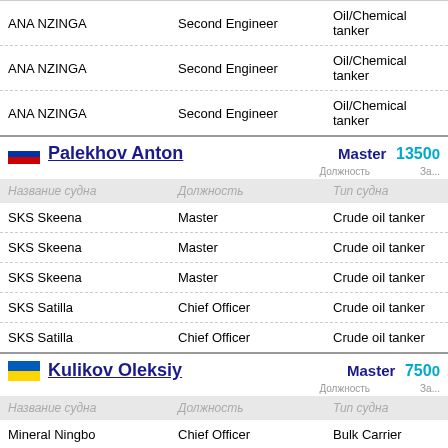| Название судна | Должность | Тип судна |
| --- | --- | --- |
| ANA NZINGA | Second Engineer | Oil/Chemical tanker |
| ANA NZINGA | Second Engineer | Oil/Chemical tanker |
| ANA NZINGA | Second Engineer | Oil/Chemical tanker |
Palekhov Anton — Master — 13500
| Название судна | Должность | Тип судна |
| --- | --- | --- |
| SKS Skeena | Master | Crude oil tanker |
| SKS Skeena | Master | Crude oil tanker |
| SKS Skeena | Master | Crude oil tanker |
| SKS Satilla | Chief Officer | Crude oil tanker |
| SKS Satilla | Chief Officer | Crude oil tanker |
Kulikov Oleksiy — Master — 7500
| Название судна | Должность | Тип судна |
| --- | --- | --- |
| Mineral Ningbo | Chief Officer | Bulk Carrier |
| Mineral Ningbo | Chief Officer | Bulk Carrier |
| Mineral Ningbo | Chief Officer | Bulk Carrier |
| Mineral Beijing | Chief Officer | Bulk Carrier |
| Mineral Dalian | Chief Officer | Bulk Carrier |